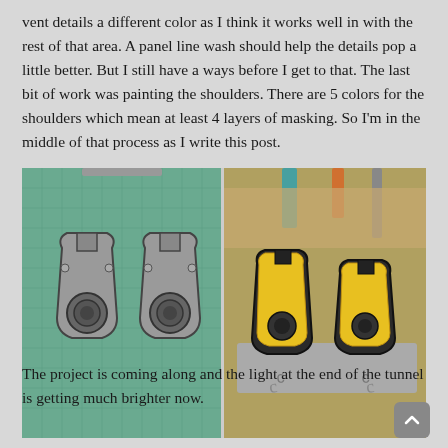vent details a different color as I think it works well in with the rest of that area. A panel line wash should help the details pop a little better. But I still have a ways before I get to that. The last bit of work was painting the shoulders. There are 5 colors for the shoulders which mean at least 4 layers of masking. So I'm in the middle of that process as I write this post.
[Figure (photo): Two side-by-side photographs. Left: Two gray/dark model kit shoulder pieces laid flat on a green cutting mat with hobby tools visible at top. Right: Two yellow-painted model kit shoulder pieces in progress, sitting on gray foam on a cutting mat with hobby tools in background.]
The project is coming along and the light at the end of the tunnel is getting much brighter now.